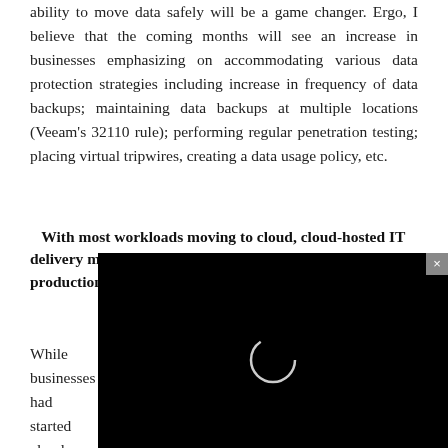ability to move data safely will be a game changer. Ergo, I believe that the coming months will see an increase in businesses emphasizing on accommodating various data protection strategies including increase in frequency of data backups; maintaining data backups at multiple locations (Veeam's 32110 rule); performing regular penetration testing; placing virtual tripwires, creating a data usage policy, etc.
With most workloads moving to cloud, cloud-hosted IT delivery models like IaaS, SaaS will gain traction for production and disaster recovery
While businesses had started migrating to cloud before the COVID-19 pandemic, the
[Figure (screenshot): Black video overlay with a loading spinner circle in the center and a grey close button (×) in the top-right corner]